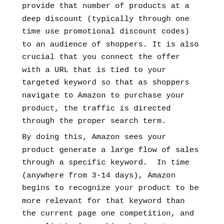provide that number of products at a deep discount (typically through one time use promotional discount codes) to an audience of shoppers. It is also crucial that you connect the offer with a URL that is tied to your targeted keyword so that as shoppers navigate to Amazon to purchase your product, the traffic is directed through the proper search term.
By doing this, Amazon sees your product generate a large flow of sales through a specific keyword.  In time (anywhere from 3-14 days), Amazon begins to recognize your product to be more relevant for that keyword than the current page one competition, and your listing's ranking begins to improve. Ideally, once the promotion ends, your listing has favorable ranking and is